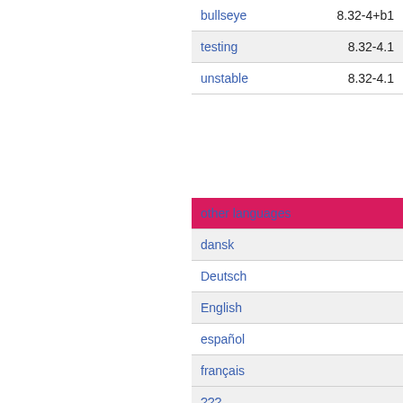| release | version |
| --- | --- |
| bullseye | 8.32-4+b1 |
| testing | 8.32-4.1 |
| unstable | 8.32-4.1 |
| other languages |
| --- |
| dansk |
| Deutsch |
| English |
| español |
| français |
| ??? |
| norsk bokmål |
| Nederlands |
| polski |
| српски |